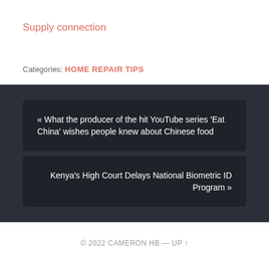Supply connection
Categories: HOME REPAIR TIPS
« What the producer of the hit YouTube series 'Eat China' wishes people knew about Chinese food
Kenya's High Court Delays National Biometric ID Program »
© 2022 CAMERON HB — UP ↑